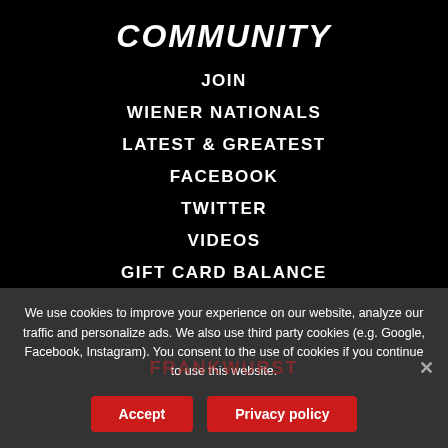COMMUNITY
JOIN
WIENER NATIONALS
LATEST & GREATEST
FACEBOOK
TWITTER
VIDEOS
GIFT CARD BALANCE
We use cookies to improve your experience on our website, analyze our traffic and personalize ads. We also use third party cookies (e.g. Google, Facebook, Instagram). You consent to the use of cookies if you continue to use this website.
Accept | Privacy policy